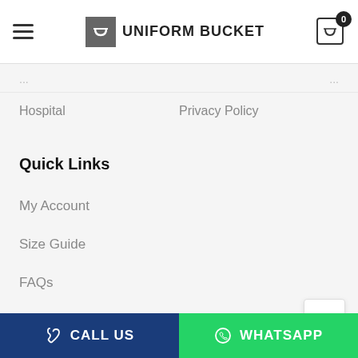UNIFORM BUCKET
Hospital
Privacy Policy
Quick Links
My Account
Size Guide
FAQs
Subscribe to our newsletter and get 10% off your first purchase
CALL US  WHATSAPP